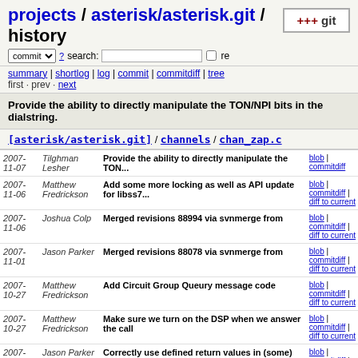projects / asterisk/asterisk.git / history
commit search: re
summary | shortlog | log | commit | commitdiff | tree
first · prev · next
Provide the ability to directly manipulate the TON/NPI bits in the dialstring.
[asterisk/asterisk.git] / channels / chan_zap.c
| Date | Author | Message | Links |
| --- | --- | --- | --- |
| 2007-11-07 | Tilghman Lesher | Provide the ability to directly manipulate the TON... | blob | commitdiff |
| 2007-11-06 | Matthew Fredrickson | Add some more locking as well as API update for libss7... | blob | commitdiff | diff to current |
| 2007-11-06 | Joshua Colp | Merged revisions 88994 via svnmerge from | blob | commitdiff | diff to current |
| 2007-11-01 | Jason Parker | Merged revisions 88078 via svnmerge from | blob | commitdiff | diff to current |
| 2007-10-27 | Matthew Fredrickson | Add Circuit Group Queury message code | blob | commitdiff | diff to current |
| 2007-10-27 | Matthew Fredrickson | Make sure we turn on the DSP when we answer the call | blob | commitdiff | diff to current |
| 2007-10-26 | Jason Parker | Correctly use defined return values in (some) load_modu... | blob | commitdiff | diff to current |
| 2007- | Jason Parker | Merged revisions 86003 via | blob |